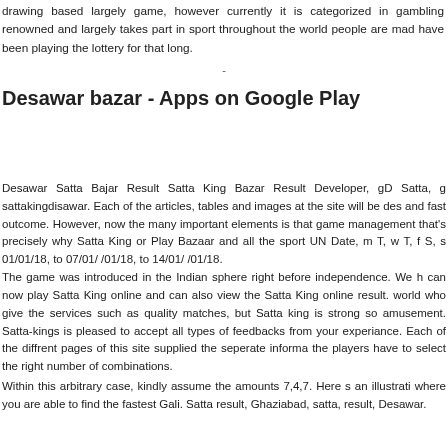drawing based largely game, however currently it is categorized in gambling renowned and largely takes part in sport throughout the world people are mad have been playing the lottery for that long.
Desawar bazar - Apps on Google Play
Desawar Satta Bajar Result Satta King Bazar Result Developer, gD Satta, g sattakingdisawar. Each of the articles, tables and images at the site will be des and fast outcome. However, now the many important elements is that game management that's precisely why Satta King or Play Bazaar and all the sport UN Date, m T, w T, f S, s 01/01/18, to 07/01/ /01/18, to 14/01/ /01/18.
The game was introduced in the Indian sphere right before independence. We h can now play Satta King online and can also view the Satta King online result. world who give the services such as quality matches, but Satta king is strong so amusement. Satta-kings is pleased to accept all types of feedbacks from your experiance. Each of the diffrent pages of this site supplied the seperate informa the players have to select the right number of combinations.
Within this arbitrary case, kindly assume the amounts 7,4,7. Here s an illustrati where you are able to find the fastest Gali. Satta result, Ghaziabad, satta, result, Desawar.